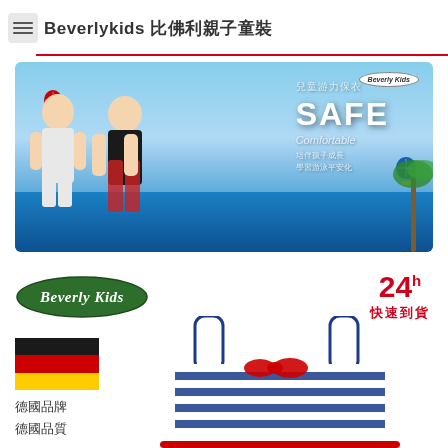Beverlykids 比佛利親子童裝
[Figure (photo): Promotional banner for Beverly Kids swimwear. Two children standing in water splash background (blue sky, hot air balloons). Text overlay: 兒童游力保衣, SAFE, Comfortable, 培伴孩子成長, 學習游泳平安化. Beverly Kids logo badge top right.]
[Figure (logo): Beverly Kids oval green logo badge with italic text]
24h 快速到貨
[Figure (illustration): German flag (black, red, gold horizontal stripes)]
德國品牌
德國品質
[Figure (photo): Children's navy/white striped swimsuit with red bow and red ruffle bottom, two shoulder strap loops visible at top]